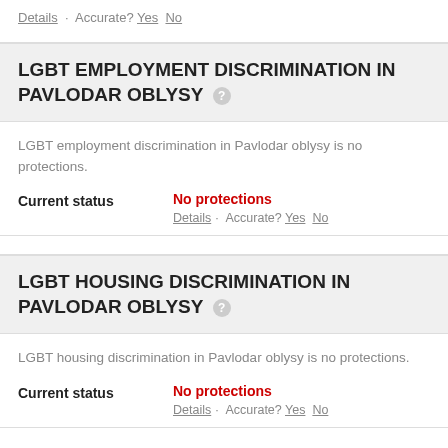Details · Accurate? Yes No
LGBT EMPLOYMENT DISCRIMINATION IN PAVLODAR OBLYSY
LGBT employment discrimination in Pavlodar oblysy is no protections.
Current status   No protections
Details · Accurate? Yes No
LGBT HOUSING DISCRIMINATION IN PAVLODAR OBLYSY
LGBT housing discrimination in Pavlodar oblysy is no protections.
Current status   No protections
Details · Accurate? Yes No